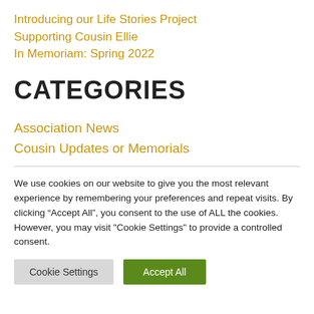Introducing our Life Stories Project
Supporting Cousin Ellie
In Memoriam: Spring 2022
CATEGORIES
Association News
Cousin Updates or Memorials
We use cookies on our website to give you the most relevant experience by remembering your preferences and repeat visits. By clicking “Accept All”, you consent to the use of ALL the cookies. However, you may visit "Cookie Settings" to provide a controlled consent.
Cookie Settings | Accept All